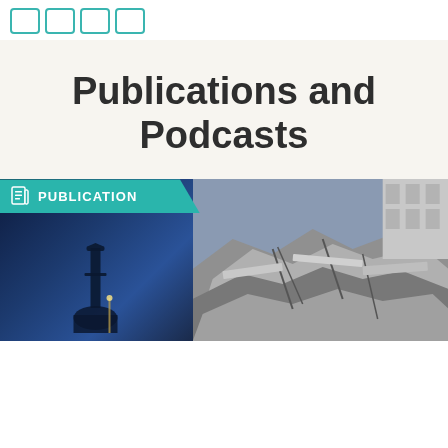[Figure (other): Four teal/turquoise outlined square navigation icons in a row at the top of the page]
Publications and Podcasts
[Figure (photo): A photograph showing earthquake destruction: on the left a mosque minaret silhouetted against a dark blue night sky, on the right collapsed concrete building rubble. A teal 'PUBLICATION' badge with a document icon overlays the top-left of the image.]